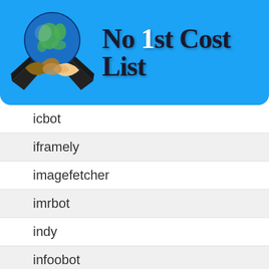[Figure (logo): No 1st Cost List logo with handshake and globe image on blue banner background]
No 1st Cost List
icbot
iframely
imagefetcher
imrbot
indy
infoobot
iskanie
it2media-domain-crawler
jooblebot
jpg-newsbot
jugendschutzprogramm-crawler